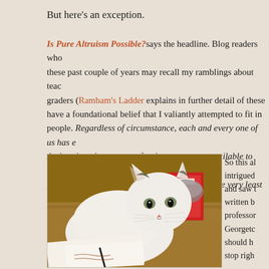But here's an exception.
Is Pure Altruism Possible? says the headline. Blog readers who these past couple of years may recall my ramblings about tea graders (Rambam's Ladder explains in further detail of these have a foundational belief that I valiantly attempted to fit in people. Regardless of circumstance, each and every one of us has e And each and every one of us has a resource available to make a di process of "giving back", my young friends, is the very least we shou
[Figure (photo): A white cat lying on a wooden table surrounded by papers, books, and other objects, looking at the camera]
So this al intrigued and saw t written b professor Georgetc should h stop righ